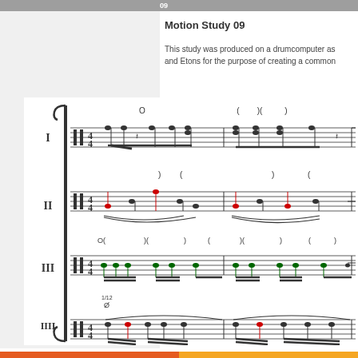09
Motion Study 09
This study was produced on a drumcomputer as and Etons for the purpose of creating a common
[Figure (illustration): Musical score notation showing four parts labeled I, II, III, and IIII in 4/4 time. Part I shows standard percussion notation. Part II shows notation with red-colored notes and slurs. Part III shows notation with green-colored notes. Part IIII shows notation with black and red-colored notes. Accent marks (parentheses and circles) appear above each staff. The score is bracketed on the left side.]